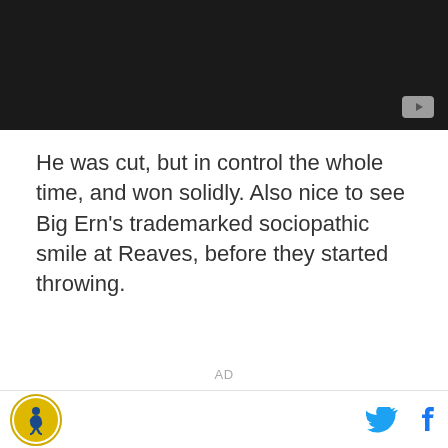[Figure (screenshot): Dark video player placeholder with YouTube button in bottom-right corner]
He was cut, but in control the whole time, and won solidly. Also nice to see Big Ern's trademarked sociopathic smile at Reaves, before they started throwing.
AD
Site logo icon, Twitter bird icon, Facebook f icon